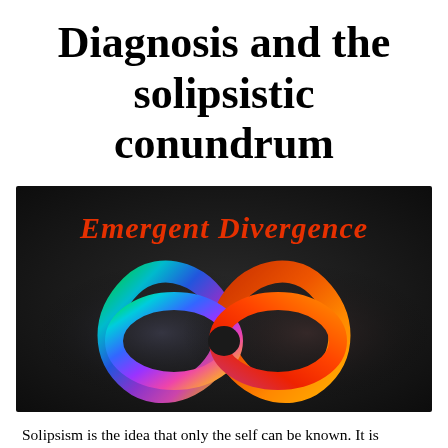Diagnosis and the solipsistic conundrum
[Figure (illustration): Dark background image with colorful infinity symbol (rainbow/neurodiversity colors on left loop, red/orange on right loop) and red italic text 'Emergent Divergence' above it]
Solipsism is the idea that only the self can be known. It is impossible to know the world through the eyes of another.